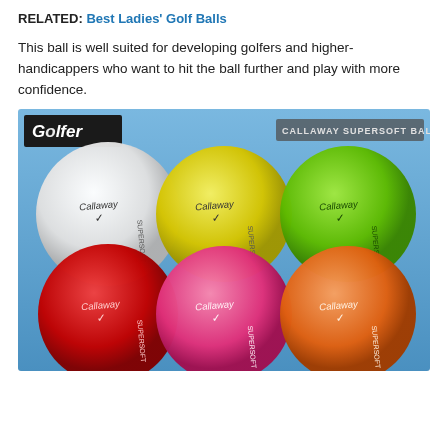RELATED: Best Ladies' Golf Balls
This ball is well suited for developing golfers and higher-handicappers who want to hit the ball further and play with more confidence.
[Figure (photo): Six Callaway Supersoft golf balls in different colors (white, yellow, green, red, pink, orange) shown against a blue gradient background with 'Today's Golfer' logo and 'CALLAWAY SUPERSOFT BALL' label.]